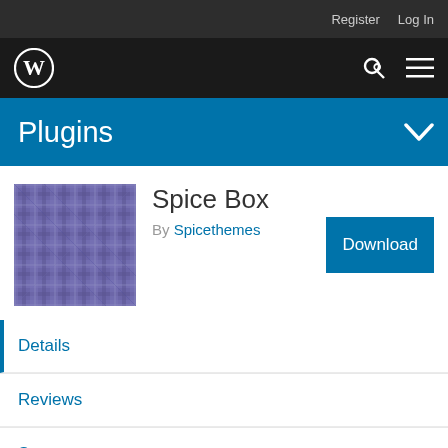Register  Log In
[Figure (logo): WordPress logo (W in circle) in dark navigation bar with search and menu icons]
Plugins
[Figure (illustration): Spice Box plugin thumbnail - purple/violet plaid/tartan pattern]
Spice Box
By Spicethemes
Download
Details
Reviews
Support
Development